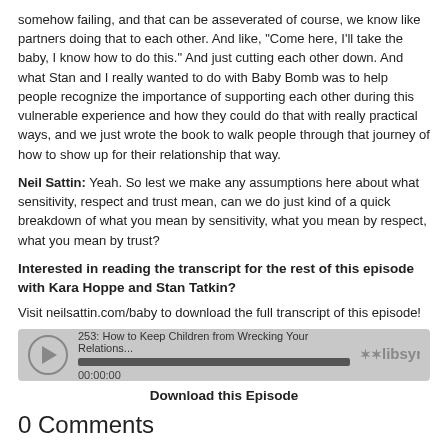somehow failing, and that can be asseverated of course, we know like partners doing that to each other. And like, "Come here, I'll take the baby, I know how to do this." And just cutting each other down. And what Stan and I really wanted to do with Baby Bomb was to help people recognize the importance of supporting each other during this vulnerable experience and how they could do that with really practical ways, and we just wrote the book to walk people through that journey of how to show up for their relationship that way.
Neil Sattin: Yeah. So lest we make any assumptions here about what sensitivity, respect and trust mean, can we do just kind of a quick breakdown of what you mean by sensitivity, what you mean by respect, what you mean by trust?
Interested in reading the transcript for the rest of this episode with Kara Hoppe and Stan Tatkin?
Visit neilsattin.com/baby to download the full transcript of this episode!
[Figure (other): Audio player widget showing episode 253: How to Keep Children from Wrecking Your Relations... with play button, progress bar, timestamp 00:00:00, and libsyn logo]
Download this Episode
0 Comments